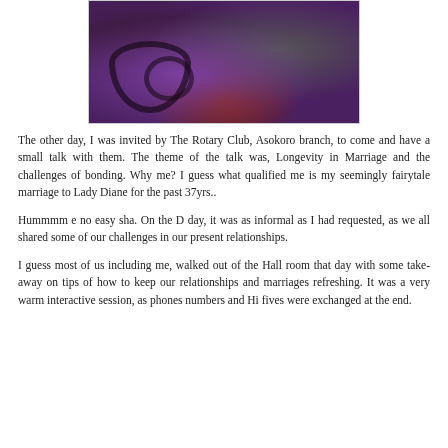[Figure (photo): A photograph of two people, one in a purple outfit and one in a grey/white suit, at what appears to be a formal event with decorative ironwork furniture visible.]
The other day, I was invited by The Rotary Club, Asokoro branch, to come and have a small talk with them. The theme of the talk was, Longevity in Marriage and the challenges of bonding. Why me? I guess what qualified me is my seemingly fairytale marriage to Lady Diane for the past 37yrs..
Hummmm e no easy sha. On the D day, it was as informal as I had requested, as we all shared some of our challenges in our present relationships.
I guess most of us including me, walked out of the Hall room that day with some take-away on tips of how to keep our relationships and marriages refreshing. It was a very warm interactive session, as phones numbers and Hi fives were exchanged at the end.